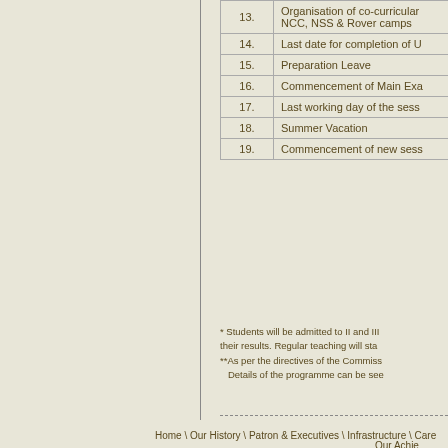| No. | Item |
| --- | --- |
| 13. | Organisation of co-curricular activities, NCC, NSS & Rover camps |
| 14. | Last date for completion of U... |
| 15. | Preparation Leave |
| 16. | Commencement of Main Exa... |
| 17. | Last working day of the sess... |
| 18. | Summer Vacation |
| 19. | Commencement of new sess... |
* Students will be admitted to II and III... their results. Regular teaching will sta... **As per the directives of the Commiss... Details of the programme can be see...
Home \ Our History \ Patron & Executives \ Infrastructure \ Care...
Our Achie...